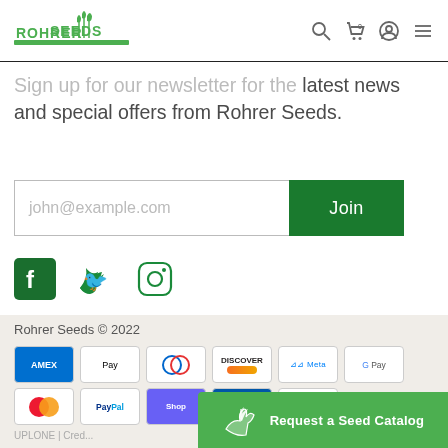[Figure (logo): Rohrer Seeds and Supplies logo - green text with wheat/grass graphic]
[Figure (infographic): Navigation icons: search, cart (0), user account, hamburger menu]
Sign up for our newsletter for the latest news and special offers from Rohrer Seeds.
[Figure (infographic): Email signup form with john@example.com placeholder and green Join button]
[Figure (infographic): Social media icons: Facebook, Twitter, Instagram]
Rohrer Seeds © 2022
[Figure (infographic): Payment method icons: American Express, Apple Pay, Diners Club, Discover, Meta Pay, Google Pay, Mastercard, PayPal, Shop Pay, and others]
UPLONE | Cred...
[Figure (infographic): Request a Seed Catalog green button with plant/hand icon]